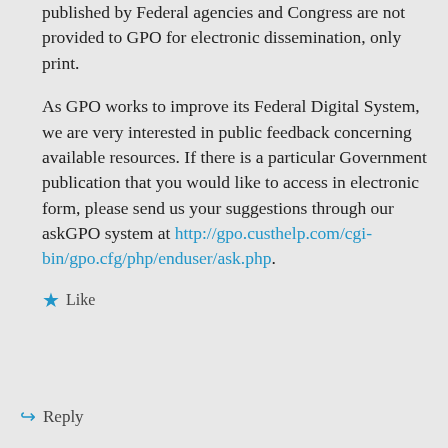published by Federal agencies and Congress are not provided to GPO for electronic dissemination, only print.
As GPO works to improve its Federal Digital System, we are very interested in public feedback concerning available resources. If there is a particular Government publication that you would like to access in electronic form, please send us your suggestions through our askGPO system at http://gpo.custhelp.com/cgi-bin/gpo.cfg/php/enduser/ask.php.
★ Like
↪ Reply